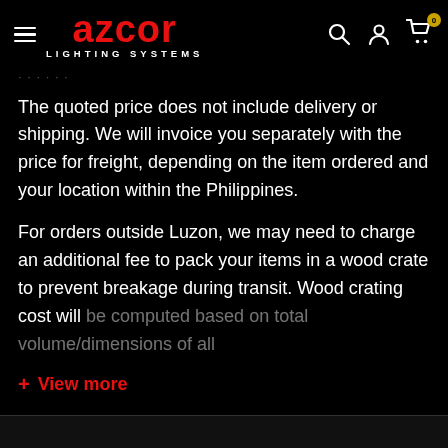AZCOR LIGHTING SYSTEMS
The quoted price does not include delivery or shipping. We will invoice you separately with the price for freight, depending on the item ordered and your location within the Philippines.
For orders outside Luzon, we may need to charge an additional fee to pack your items in a wood crate to prevent breakage during transit. Wood crating cost will be computed based on total volume/dimensions of all
+ View more